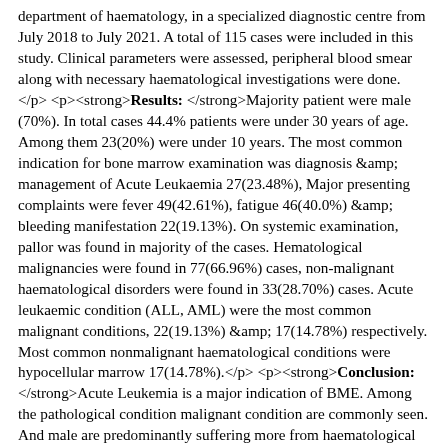department of haematology, in a specialized diagnostic centre from July 2018 to July 2021. A total of 115 cases were included in this study. Clinical parameters were assessed, peripheral blood smear along with necessary haematological investigations were done. </p> <p><strong>Results: </strong>Majority patient were male (70%). In total cases 44.4% patients were under 30 years of age. Among them 23(20%) were under 10 years. The most common indication for bone marrow examination was diagnosis &amp; management of Acute Leukaemia 27(23.48%), Major presenting complaints were fever 49(42.61%), fatigue 46(40.0%) &amp; bleeding manifestation 22(19.13%). On systemic examination, pallor was found in majority of the cases. Hematological malignancies were found in 77(66.96%) cases, non-malignant haematological disorders were found in 33(28.70%) cases. Acute leukaemic condition (ALL, AML) were the most common malignant conditions, 22(19.13%) &amp; 17(14.78%) respectively. Most common nonmalignant haematological conditions were hypocellular marrow 17(14.78%).</p> <p><strong>Conclusion: </strong>Acute Leukemia is a major indication of BME. Among the pathological condition malignant condition are commonly seen. And male are predominantly suffering more from haematological disorders than female. In majority cases acute leukaemic condition are seen in BME.</p> <p>Medicine Today 2022 Vol.34(1): 7-11</p> Samira Taufique Reshma, Salina Haque , Zulfia Zinat Chowdhury , Mohammad Iqbal Kabir, Mohammad Golam Rabbani, Mohammad Abu Zakir Tarafder (c) 2022 Medicine